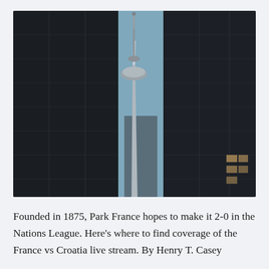[Figure (photo): Photograph of the CN Tower in Toronto seen from street level between two dark glass skyscrapers. The tower rises prominently in the center with a light blue sky visible behind it.]
Founded in 1875, Park France hopes to make it 2-0 in the Nations League. Here's where to find coverage of the France vs Croatia live stream. By Henry T. Casey